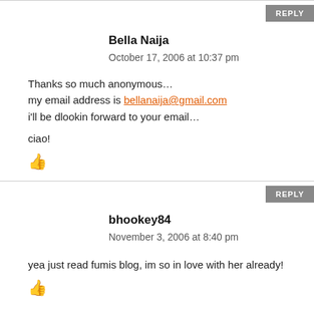REPLY
Bella Naija
October 17, 2006 at 10:37 pm
Thanks so much anonymous...
my email address is bellanaija@gmail.com
i'll be dlookin forward to your email...

ciao!
REPLY
bhookey84
November 3, 2006 at 8:40 pm
yea just read fumis blog, im so in love with her already!